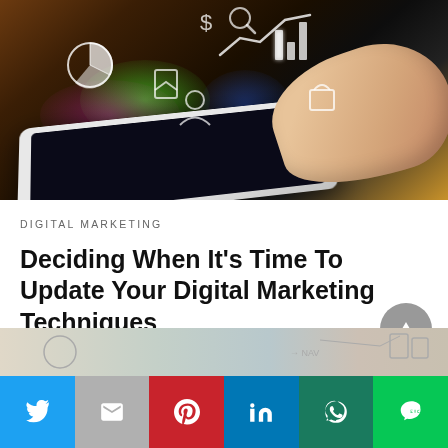[Figure (photo): Hand touching a tablet device with colorful glowing digital marketing icons floating above it including charts, graphs, dollar signs, and other business symbols against a dark background]
DIGITAL MARKETING
Deciding When It's Time To Update Your Digital Marketing Techniques
Your current digital marketing techniques aren't going to produce results forever. To address this, you…
1 month ago
[Figure (photo): Partial preview of next article image]
Social share buttons: Twitter, Gmail, Pinterest, LinkedIn, WhatsApp, LINE